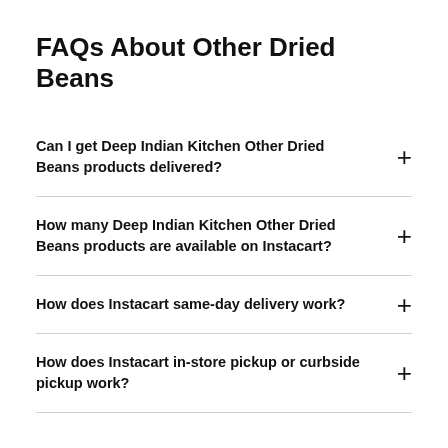FAQs About Other Dried Beans
Can I get Deep Indian Kitchen Other Dried Beans products delivered?
How many Deep Indian Kitchen Other Dried Beans products are available on Instacart?
How does Instacart same-day delivery work?
How does Instacart in-store pickup or curbside pickup work?